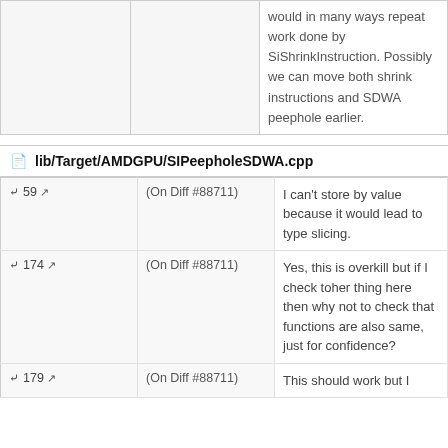|  |  |  |
| --- | --- | --- |
|  |  | would in many ways repeat work done by SiShrinkInstruction. Possibly we can move both shrink instructions and SDWA peephole earlier. |
lib/Target/AMDGPU/SIPeepholeSDWA.cpp
|  |  |  |
| --- | --- | --- |
| 59 ↗ | (On Diff #88711) | I can't store by value because it would lead to type slicing. |
| 174 ↗ | (On Diff #88711) | Yes, this is overkill but if I check toher thing here then why not to check that functions are also same, just for confidence? |
| 179 ↗ | (On Diff #88711) | This should work but I |